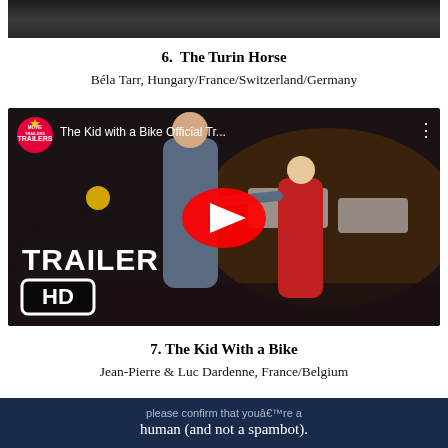[Figure (photo): Top portion of a black and white film still, partially visible]
6.  The Turin Horse
Béla Tarr, Hungary/France/Switzerland/Germany
[Figure (screenshot): YouTube video thumbnail for 'The Kid with a Bike Official Tr...' showing a woman and child on a nighttime street with TRAILER HD overlay and YouTube play button. Uploaded by Movie Trailers channel.]
7. The Kid With a Bike
Jean-Pierre & Luc Dardenne, France/Belgium
please confirm that youâ€™re a human (and not a spambot).